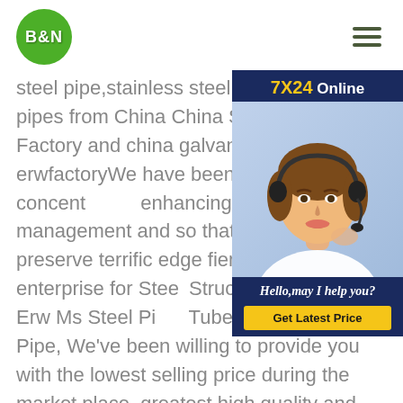B&N [logo] [hamburger menu]
[Figure (illustration): 7X24 Online chat widget with a woman wearing a headset, dark navy blue background, with text 'Hello,may I help you?' and a yellow 'Get Latest Price' button]
steel pipe,stainless steel pipe,iron or steel pipes from China China Steel Structure Factory and china galvanized steel pipe erwfactoryWe have been also concentrating enhancing the things management and so that we could preserve terrific edge fiercely-competitive enterprise for Steel Structure/Fabrication, Erw Ms Steel Pipe, Tube Guardrail, Ms Pipe, We've been willing to provide you with the lowest selling price during the market place, greatest high quality and quite nice sales service.Welcome china galvanized steel pipe tube erwfactoryERW - hnssdNews COMPANY